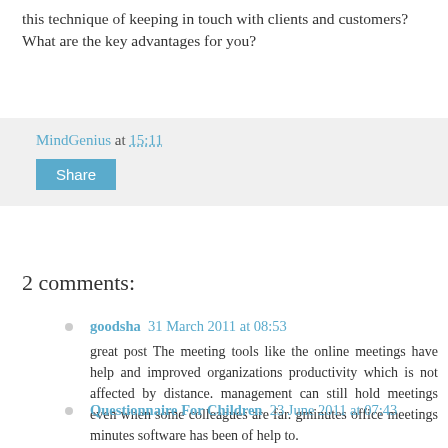this technique of keeping in touch with clients and customers? What are the key advantages for you?
MindGenius at 15:11
Share
2 comments:
goodsha 31 March 2011 at 08:53
great post The meeting tools like the online meetings have help and improved organizations productivity which is not affected by distance. management can still hold meetings even when some colleagues are far. gminutes office meetings minutes software has been of help to.
Reply
Questionnaire For Children 23 June 2011 at 07:43